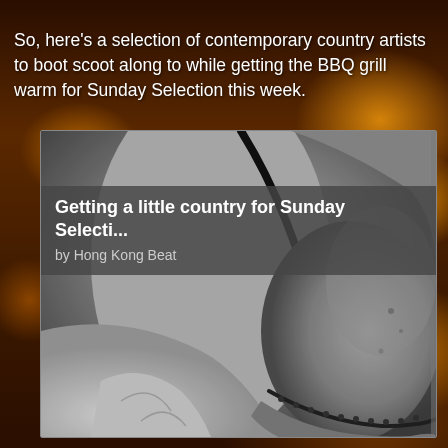So, here's a selection of contemporary country artists to boot scoot along to while getting the BBQ grill warm for Sunday Selection this week.
[Figure (screenshot): An embedded music playlist card showing a black and white close-up photograph of a person wearing a cowboy hat, with an overlay title bar reading 'Getting a little country for Sunday Selecti...' by Hong Kong Beat]